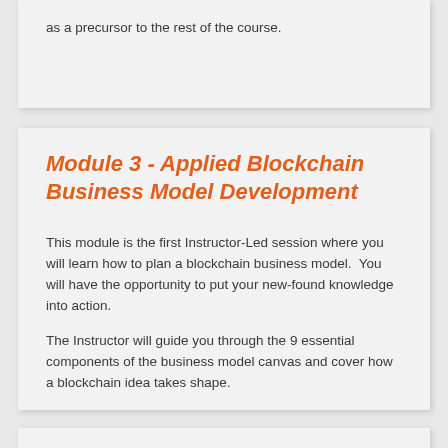as a precursor to the rest of the course.
Module 3 - Applied Blockchain Business Model Development
This module is the first Instructor-Led session where you will learn how to plan a blockchain business model.  You will have the opportunity to put your new-found knowledge into action.
The Instructor will guide you through the 9 essential components of the business model canvas and cover how a blockchain idea takes shape.